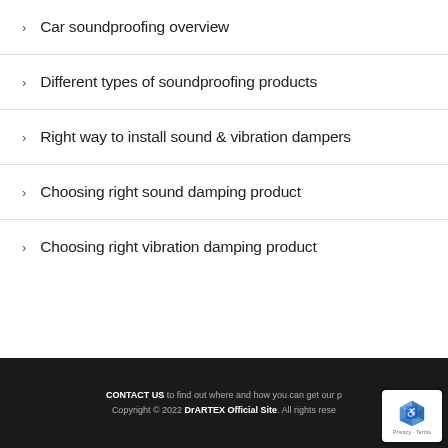Car soundproofing overview
Different types of soundproofing products
Right way to install sound & vibration dampers
Choosing right sound damping product
Choosing right vibration damping product
CONTACT US to find out where and how you can get our p... Copyright © 2022 DrARTEX Official Site. All rights rese...